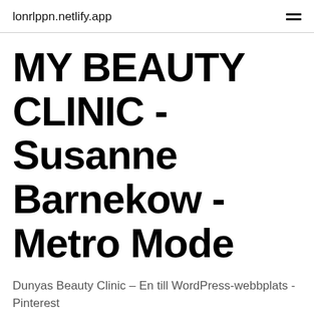lonrlppn.netlify.app
MY BEAUTY CLINIC - Susanne Barnekow - Metro Mode
Dunyas Beauty Clinic – En till WordPress-webbplats - Pinterest
Co education essay Why is beauty so important in society essay. Instagram social media marketing